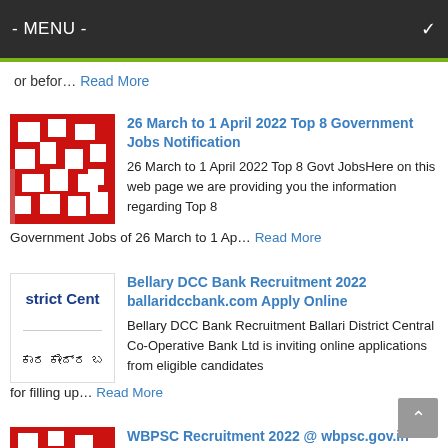- MENU -
or befor… Read More
[Figure (photo): Red and white pattern thumbnail image]
26 March to 1 April 2022 Top 8 Government Jobs Notification
26 March to 1 April 2022 Top 8 Govt JobsHere on this web page we are providing you the information regarding Top 8 Government Jobs of 26 March to 1 Ap… Read More
[Figure (logo): Bellary DCC Bank logo with Kannada text]
Bellary DCC Bank Recruitment 2022 ballaridccbank.com Apply Online
Bellary DCC Bank Recruitment Ballari District Central Co-Operative Bank Ltd is inviting online applications from eligible candidates for filling up… Read More
[Figure (photo): Red and white pattern thumbnail image for WBPSC]
WBPSC Recruitment 2022 @ wbpsc.gov.in Apply Online Form
WBPSC Recruitment Hello dear friends